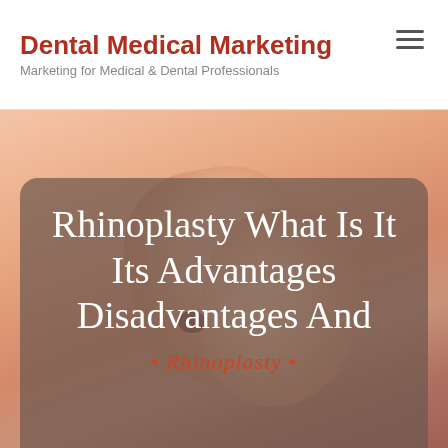Dental Medical Marketing — Marketing for Medical & Dental Professionals
[Figure (photo): Close-up photo of a human nose from below, showing nostrils, with warm peach/tan skin tones. Below the photo is a semi-transparent dark overlay box containing the article title text.]
Rhinoplasty What Is It Its Advantages Disadvantages And
• Rhinoplasty •